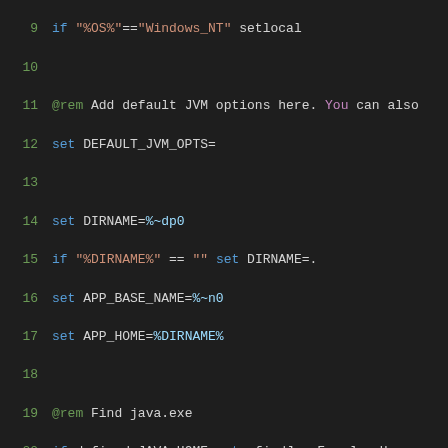Code listing lines 9-30: Windows batch script for JVM/Java setup